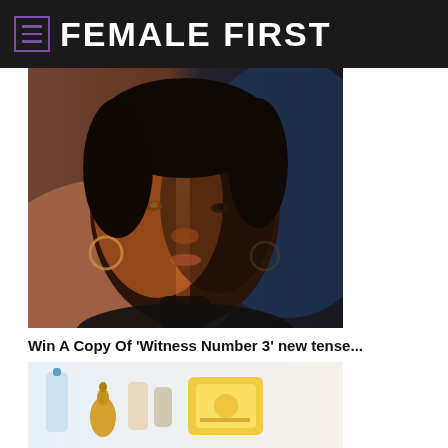FEMALE FIRST
[Figure (photo): Close-up portrait of a Black woman with dramatic split lighting — warm orange on one side, cool blue on the other — looking directly at camera. She wears hoop earrings.]
Win A Copy Of 'Witness Number 3' new tense...
[Figure (photo): Product flat-lay photo showing a blue-capped bottle, a golden bear-shaped bottle, cylindrical canisters, and a yellow honeycomb-branded package on a white background.]